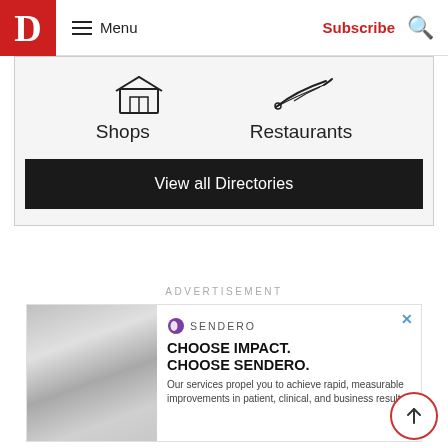D  Menu  Subscribe
[Figure (illustration): Icon of a shop/retail display]
Shops
[Figure (illustration): Icon of a hand with a fork (restaurants)]
Restaurants
View all Directories
ADVERTISEMENT
[Figure (photo): Grayscale photo of a person in white clothing]
SENDERO
CHOOSE IMPACT. CHOOSE SENDERO.
Our services propel you to achieve rapid, measurable improvements in patient, clinical, and business results.